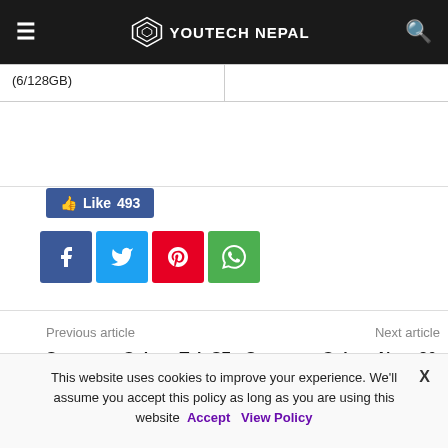YOUTECH NEPAL
| (6/128GB) |  |
[Figure (other): Like 493 button and social share icons: Facebook, Twitter, Pinterest, WhatsApp]
Previous article
Next article
Samsung Galaxy Tab S7 & S7+ launched alongside Watch 3 & Buds Live
Samsung Galaxy Note 20 and Note 20 Ultra; Now available for pre-order in Nepal
This website uses cookies to improve your experience. We'll assume you accept this policy as long as you are using this website Accept View Policy